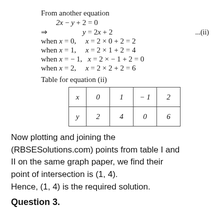From another equation
when x = 0,  x = 2 × 0 + 2 = 2
when x = 1,  x = 2 × 1 + 2 = 4
when x = – 1,  x = 2 × – 1 + 2 = 0
when x = 2,  x = 2 × 2 + 2 = 6
Table for equation (ii)
| x | 0 | 1 | – 1 | 2 |
| --- | --- | --- | --- | --- |
| y | 2 | 4 | 0 | 6 |
Now plotting and joining the (RBSESolutions.com) points from table I and II on the same graph paper, we find their point of intersection is (1, 4). Hence, (1, 4) is the required solution.
Question 3.